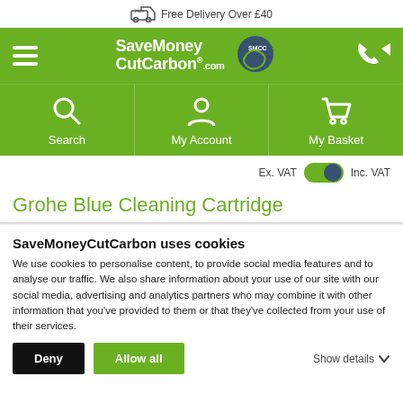Free Delivery Over £40
[Figure (screenshot): SaveMoneyCutCarbon website navigation header with green background, hamburger menu, logo, and phone icon]
[Figure (screenshot): Green icon navigation bar with Search, My Account, and My Basket icons]
Ex. VAT   Inc. VAT
Grohe Blue Cleaning Cartridge
SaveMoneyCutCarbon uses cookies
We use cookies to personalise content, to provide social media features and to analyse our traffic. We also share information about your use of our site with our social media, advertising and analytics partners who may combine it with other information that you've provided to them or that they've collected from your use of their services.
Deny   Allow all   Show details